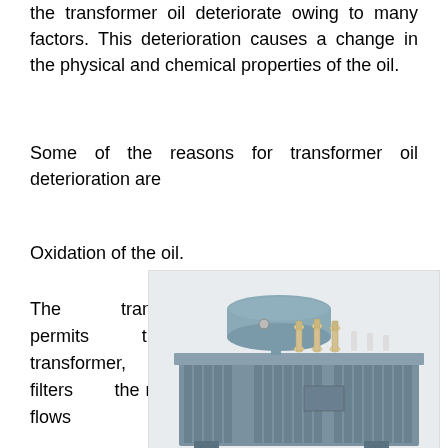the transformer oil deteriorate owing to many factors. This deterioration causes a change in the physical and chemical properties of the oil.
Some of the reasons for transformer oil deterioration are
Oxidation of the oil.
The transformer breather permits the entry of air into the transformer, although it filters the moisture. The air which flows
[Figure (photo): Photograph of an oil-filled electrical transformer unit, showing a grey metal tank with cooling fins, bushings/insulators on top, and a cylindrical conservator tank mounted above.]